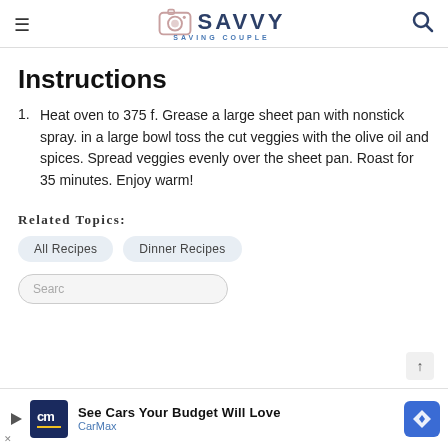Savvy Saving Couple
Instructions
Heat oven to 375 f. Grease a large sheet pan with nonstick spray. in a large bowl toss the cut veggies with the olive oil and spices. Spread veggies evenly over the sheet pan. Roast for 35 minutes. Enjoy warm!
Related Topics:
All Recipes
Dinner Recipes
[Figure (screenshot): CarMax advertisement banner: 'See Cars Your Budget Will Love' with CarMax logo and blue arrow icon]